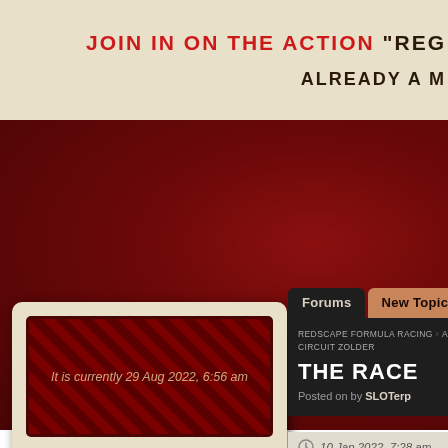JOIN IN ON THE ACTION "REG...  ALREADY A M...
[Figure (screenshot): Dark red forum banner background section]
[Figure (screenshot): Left card panel with red stitched banner reading 'It is currently 29 Aug 2022, 6:56 am' and avatar area at bottom]
[Figure (screenshot): Right forum panel with tabs: Forums, New Topic. Breadcrumb: REDSCAPE FORMULA RACING > ARCHIVE > CIRCUIT ZOLDER. Title: THE RACE. Posted on by SLOTerp.]
It is currently 29 Aug 2022, 6:56 am
REDSCAPE FORMULA RACING  ARCHIVE  CIRCUIT ZOLDER
THE RACE
Posted on by SLOTerp
10 Jan 2022, 7:28 am